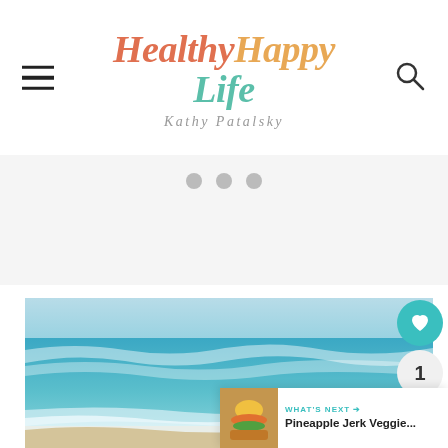Healthy Happy Life — Kathy Patalsky
[Figure (screenshot): Slideshow pagination dots (three gray circles)]
[Figure (photo): Beach ocean waves photo with teal water and sandy shore with birds]
[Figure (infographic): Social action buttons: heart/like (teal circle), count '1' (gray circle), share (gray circle)]
[Figure (screenshot): What's Next panel showing 'Pineapple Jerk Veggie...' with food thumbnail]